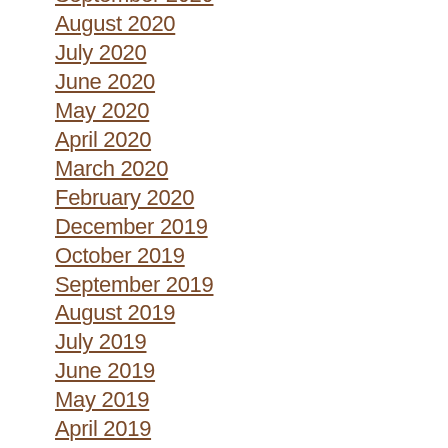September 2020
August 2020
July 2020
June 2020
May 2020
April 2020
March 2020
February 2020
December 2019
October 2019
September 2019
August 2019
July 2019
June 2019
May 2019
April 2019
March 2019
January 2019
November 2018